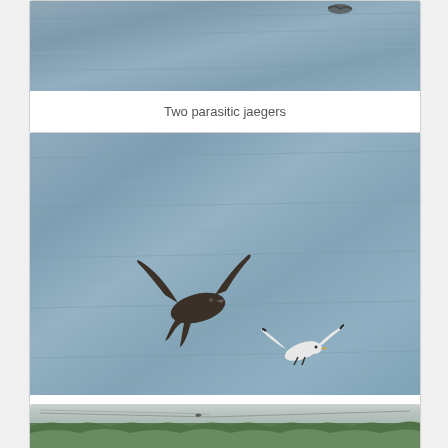[Figure (photo): Partial view of two parasitic jaegers flying over water (top portion of image cut off at page top)]
Two parasitic jaegers
[Figure (photo): A parasitic jaeger (dark brown seabird) pursuing a black-legged kittiwake (small white seabird) in flight over open water]
Parasitic jaeger pursuing black-legged kittiwake
[Figure (photo): Partial view of trees and overcast sky (bottom portion of image cut off at page bottom)]